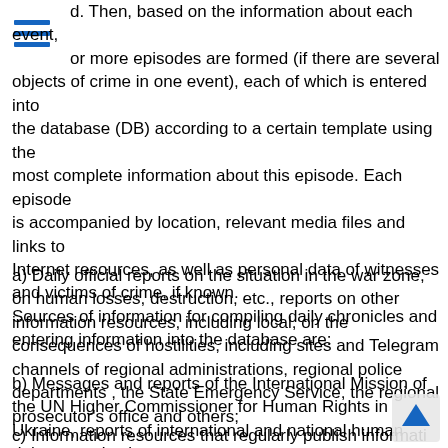[Figure (other): Blue hamburger/menu icon with three horizontal lines]
d. Then, based on the information about each event, or more episodes are formed (if there are several objects of crime in one event), each of which is entered into the database (DB) according to a certain template using the most complete information about this episode. Each episode is accompanied by location, relevant media files and links to Internet resources, as well as personal data of witnesses and victims of crime, if known.
Sources of information for compiling daily chronicles and entering information into the database are:
a) Daily official reports on the situation in the war zone, on human losses, destruction, etc., reports on other information resources, including local, on the consequences of hostilities, including sites and Telegram channels of regional administrations, regional police departments , the State Emergency Service, the regional prosecutor's office and others;
b) Messages and reports of the International Mission of the UN Higher Commissioner for Human Rights in Ukraine, reports of international and national human rights organizations;
c) Information resources that regularly publish informati